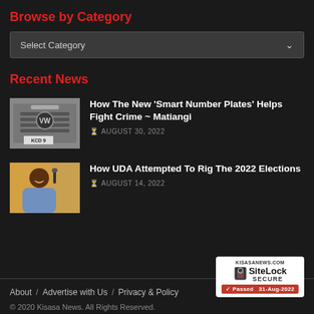Browse by Category
Select Category
Recent News
[Figure (photo): Close-up of a Volkswagen car front grille with a number plate starting KCD]
How The New 'Smart Number Plates' Helps Fight Crime ~ Matiangi
AUGUST 30, 2022
[Figure (photo): Person in a blue shirt smiling, with a microphone visible]
How UDA Attempted To Rig The 2022 Elections
AUGUST 14, 2022
About / Advertise with Us / Privacy & Policy
© 2020 Kisasa News. All Rights Reserved.